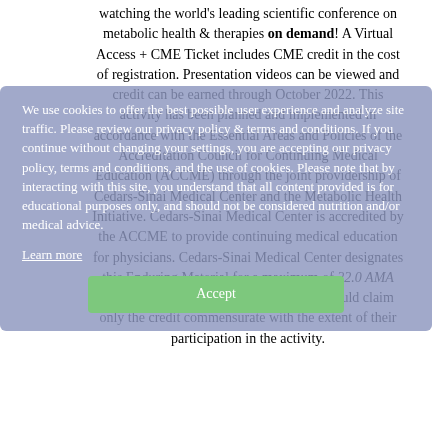watching the world's leading scientific conference on metabolic health & therapies on demand! A Virtual Access + CME Ticket includes CME credit in the cost of registration. Presentation videos can be viewed and credit can be earned through October 2022. This activity has been planned and implemented in accordance with the Essential Areas and Policies of the Accreditation Council for Continuing Medical Education (ACCME) through the joint providership of Cedars-Sinai Medical Center and the Metabolic Health Initiative. Cedars-Sinai Medical Center is accredited by the ACCME to provide continuing medical education for physicians. Cedars-Sinai Medical Center designates this Enduring Material for a maximum of 22.0 AMA PRA Category 1 Credits™. Physicians should claim only the credit commensurate with the extent of their participation in the activity.
We use cookies to offer the best possible user experience and analyze site traffic. Please review our privacy policy & terms and conditions. If you continue without changing your settings, you are accepting our privacy policy, terms and conditions, and the use of cookies. Please note that by interacting with this site, you understand that all content provided is for educational purposes only, and should not be considered nutrition and/or medical advice.
Learn more
Accept